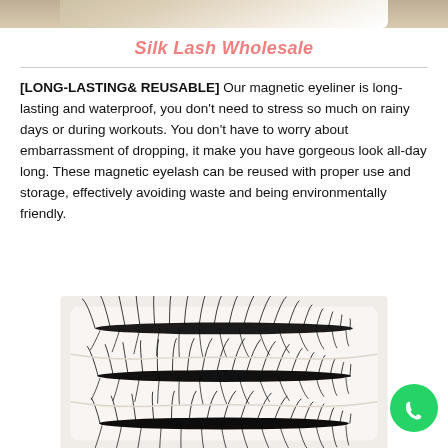[Figure (photo): Top portion of a product image showing silk/false lashes packaging on a beige/cream background]
Silk Lash Wholesale
[LONG-LASTING& REUSABLE] Our magnetic eyeliner is long-lasting and waterproof, you don't need to stress so much on rainy days or during workouts. You don't have to worry about embarrassment of dropping, it make you have gorgeous look all-day long. These magnetic eyelash can be reused with proper use and storage, effectively avoiding waste and being environmentally friendly.
[Figure (photo): Close-up photo of multiple pairs of black false/magnetic eyelashes arranged in a white tray, showing dramatic fluffy lash styles]